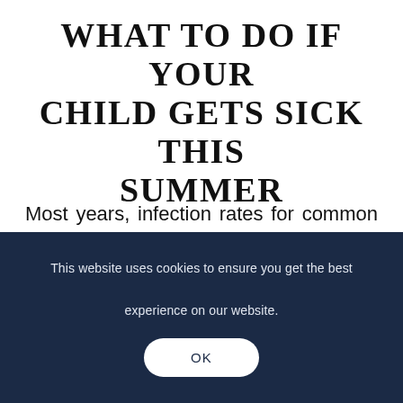WHAT TO DO IF YOUR CHILD GETS SICK THIS SUMMER
Most years, infection rates for common childhood illnesses, like colds and flu, follow a very predictable pattern. The first flurry begins in September, when schools go back after the summer
This website uses cookies to ensure you get the best experience on our website.
OK